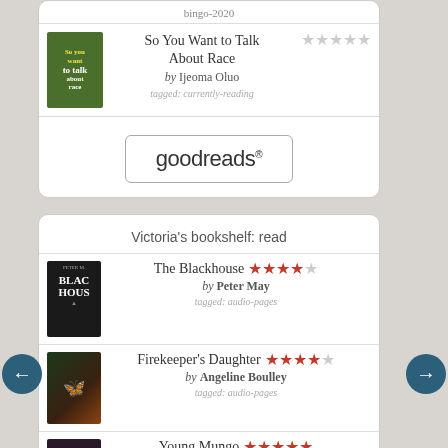bingo-2020
[Figure (photo): Book cover: So You Want to Talk About Race by Ijeoma Oluo]
So You Want to Talk About Race
by Ijeoma Oluo
tagged: currently-reading
[Figure (logo): goodreads logo button]
Victoria's bookshelf: read
[Figure (photo): Book cover: The Blackhouse by Peter May]
The Blackhouse
by Peter May
tagged: audio-pages
[Figure (photo): Book cover: Firekeeper's Daughter by Angeline Boulley]
Firekeeper's Daughter
by Angeline Boulley
tagged: audio-pages
[Figure (photo): Book cover: Young Mungo by Douglas Stuart]
Young Mungo
by Douglas Stuart
tagged: audio and book-club